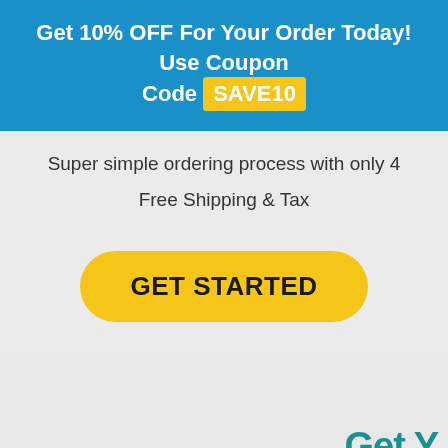Get 10% OFF For Your Order Today! Use Coupon Code SAVE10
Super simple ordering process with only 4
Free Shipping & Tax
GET STARTED
Get Y